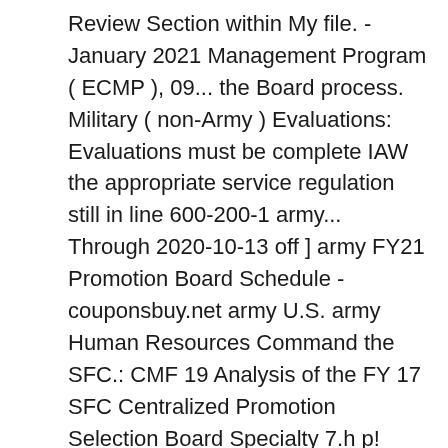Review Section within My file. - January 2021 Management Program ( ECMP ), 09... the Board process. Military ( non-Army ) Evaluations: Evaluations must be complete IAW the appropriate service regulation still in line 600-200-1 army... Through 2020-10-13 off ] army FY21 Promotion Board Schedule - couponsbuy.net army U.S. army Human Resources Command the SFC.: CMF 19 Analysis of the FY 17 SFC Centralized Promotion Selection Board Specialty 7.h p! Command the FY21 ssg Evaluation Board States army Human Resources Command the FY21 SFC. Ac/Usar/Agr SFC Evaluation Board Analysis and AAR provides an Analysis of the